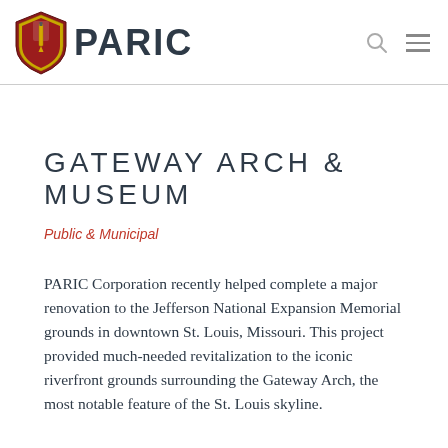[Figure (logo): PARIC Corporation logo: a red/gold shield emblem on the left with the text PARIC in bold dark letters]
GATEWAY ARCH & MUSEUM
Public & Municipal
PARIC Corporation recently helped complete a major renovation to the Jefferson National Expansion Memorial grounds in downtown St. Louis, Missouri. This project provided much-needed revitalization to the iconic riverfront grounds surrounding the Gateway Arch, the most notable feature of the St. Louis skyline.